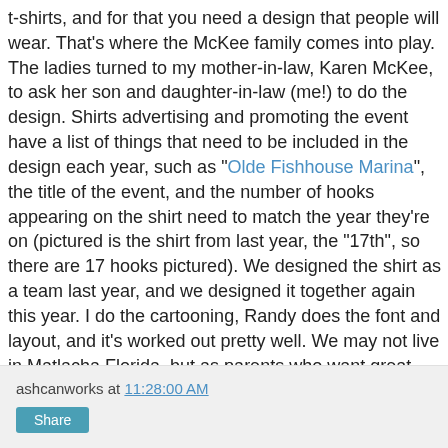t-shirts, and for that you need a design that people will wear. That's where the McKee family comes into play. The ladies turned to my mother-in-law, Karen McKee, to ask her son and daughter-in-law (me!) to do the design. Shirts advertising and promoting the event have a list of things that need to be included in the design each year, such as "Olde Fishhouse Marina", the title of the event, and the number of hooks appearing on the shirt need to match the year they're on (pictured is the shirt from last year, the "17th", so there are 17 hooks pictured). We designed the shirt as a team last year, and we designed it together again this year. I do the cartooning, Randy does the font and layout, and it's worked out pretty well. We may not live in Matlacha Florida, but as parents who want great things for their kids, educators who give their best to kids, and folks who love the area, we've adopted the community as our home away from home. And who can tell their mother-in-law no?!
ashcanworks at 11:28:00 AM